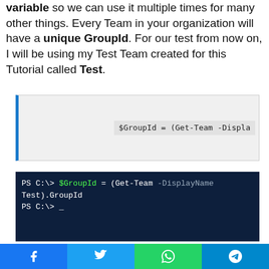variable so we can use it multiple times for many other things. Every Team in your organization will have a unique GroupId. For our test from now on, I will be using my Test Team created for this Tutorial called Test.
[Figure (screenshot): Code editor snippet showing: $GroupId = (Get-Team -Displa... on a gray background with blue left border]
[Figure (screenshot): Dark navy terminal/PowerShell window showing: PS C:\> $GroupId = (Get-Team -DisplayName Test).GroupId  PS C:\> _]
Now let's get the Team Owner information
Share buttons: Facebook, Twitter, WhatsApp, Telegram